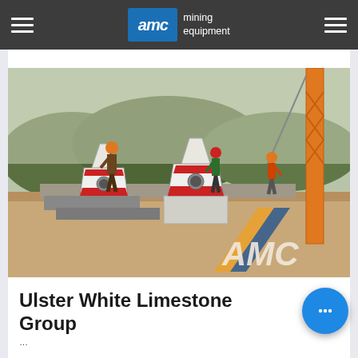AMC mining equipment
[Figure (photo): Mining site showing large white cone crusher machines with red accents being installed by workers in hard hats, with an orange crane on the right and trees in the background. AMC logo watermark visible.]
Ulster White Limestone Group